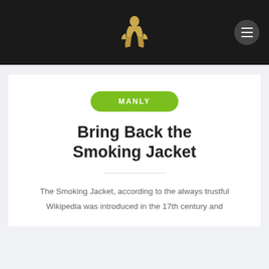Bring Back the Smoking Jacket
MANLY
The Smoking Jacket, according to the always trustful Wikipedia was introduced in the 17th century and